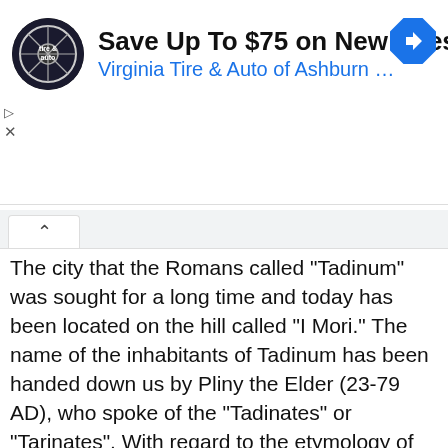[Figure (screenshot): Advertisement banner: Virginia Tire & Auto logo (circular badge), bold headline 'Save Up To $75 on New Tires', subtitle 'Virginia Tire & Auto of Ashburn …' in blue, and a blue diamond navigation arrow icon on the right. Below the banner are close/skip controls (triangle and X icons).]
The city that the Romans called "Tadinum" was sought for a long time and today has been located on the hill called "I Mori." The name of the inhabitants of Tadinum has been handed down us by Pliny the Elder (23-79 AD), who spoke of the "Tadinates" or "Tarinates". With regard to the etymology of "Tadinum", the question is quite intricate.
In the eighteenth century, S. Borgia wrote that, in his opinion, Tadino derived from: